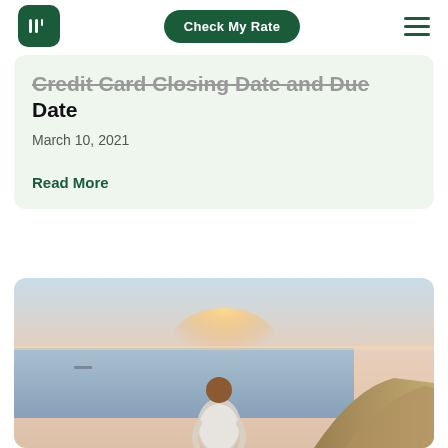Check My Rate
Credit Card Closing Date and Due Date
March 10, 2021
Read More
[Figure (photo): Woman in white clothing viewed from behind, sitting on a rocky cliff overlooking the sea at sunset, with warm light on the horizon]